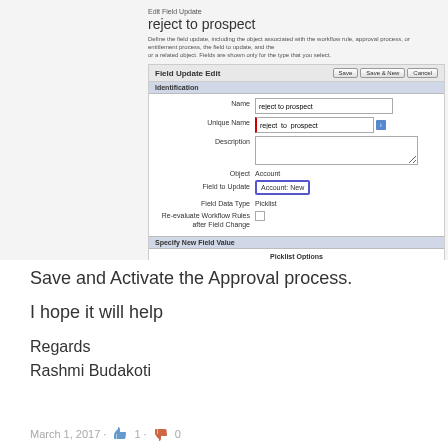[Figure (screenshot): Salesforce Field Update Edit form screenshot showing 'reject to prospect' field update configuration with Identification section (Name: reject to prospect, Unique Name: reject_to_prospect, Description, Object: Account, Field to Update: Account: New, Field Data Type: Picklist) and Specify New Field Value section with Picklist Options (A specific value: Prospect selected)]
Save and Activate the Approval process.
I hope it will help
Regards
Rashmi Budakoti
March 1, 2017 · 👍 1 · 👎 0